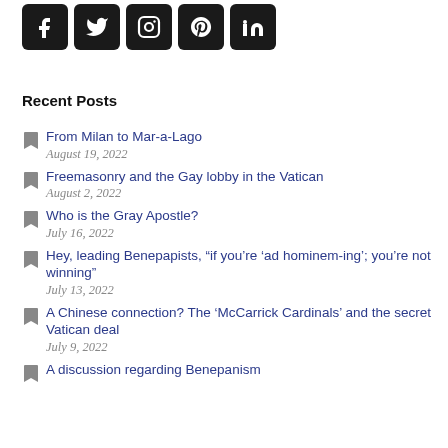[Figure (other): Social media icons row: Facebook, Twitter, Instagram, Pinterest, LinkedIn — black rounded squares with white logos]
Recent Posts
From Milan to Mar-a-Lago
August 19, 2022
Freemasonry and the Gay lobby in the Vatican
August 2, 2022
Who is the Gray Apostle?
July 16, 2022
Hey, leading Benepapists, “if you’re ‘ad hominem-ing’; you’re not winning”
July 13, 2022
A Chinese connection? The ‘McCarrick Cardinals’ and the secret Vatican deal
July 9, 2022
A discussion regarding Benepanism